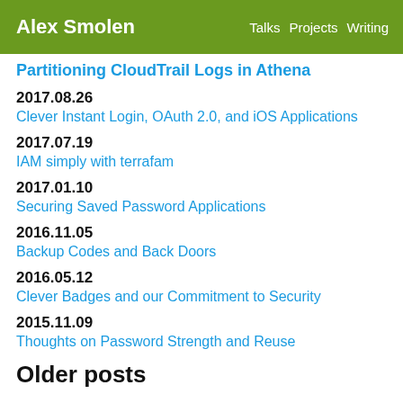Alex Smolen | Talks  Projects  Writing
Partitioning CloudTrail Logs in Athena
2017.08.26
Clever Instant Login, OAuth 2.0, and iOS Applications
2017.07.19
IAM simply with terrafam
2017.01.10
Securing Saved Password Applications
2016.11.05
Backup Codes and Back Doors
2016.05.12
Clever Badges and our Commitment to Security
2015.11.09
Thoughts on Password Strength and Reuse
Older posts